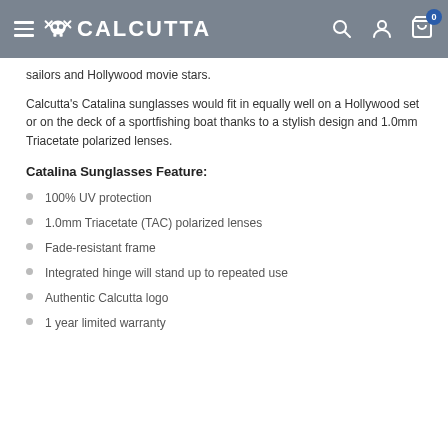CALCUTTA
sailors and Hollywood movie stars.
Calcutta's Catalina sunglasses would fit in equally well on a Hollywood set or on the deck of a sportfishing boat thanks to a stylish design and 1.0mm Triacetate polarized lenses.
Catalina Sunglasses Feature:
100% UV protection
1.0mm Triacetate (TAC) polarized lenses
Fade-resistant frame
Integrated hinge will stand up to repeated use
Authentic Calcutta logo
1 year limited warranty